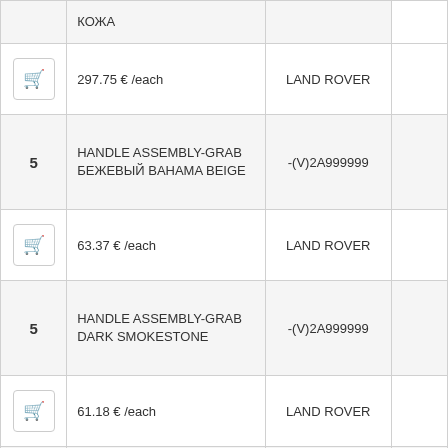| Qty | Description | Code | Action |
| --- | --- | --- | --- |
|  | КОЖА |  |  |
|  | 297.75 € /each | LAND ROVER | 🛒 |
| 5 | HANDLE ASSEMBLY-GRAB БЕЖЕВЫЙ BAHAMA BEIGE | -(V)2A999999 |  |
|  | 63.37 € /each | LAND ROVER | 🛒 |
| 5 | HANDLE ASSEMBLY-GRAB DARK SMOKESTONE | -(V)2A999999 |  |
|  | 61.18 € /each | LAND ROVER | 🛒 |
| 5 | HANDLE ASSEMBLY-GRAB DARK TUNDRA | (V)3A000000- |  |
|  | 35.44 € /each | LAND ROVER | 🛒 |
|  | HANDLE ASSEMBLY- |  |  |